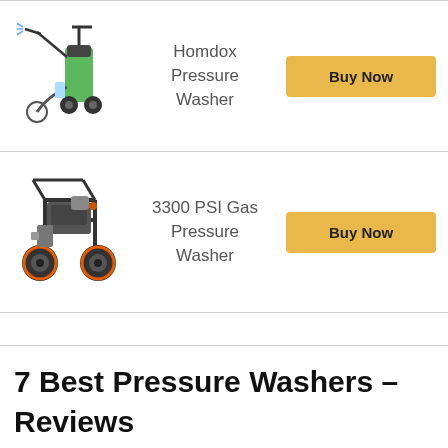[Figure (photo): Homdox electric pressure washer with green body, hose and accessories]
Homdox Pressure Washer
[Figure (other): Buy Now button for Homdox Pressure Washer]
[Figure (photo): 3300 PSI gas pressure washer with large wheels, black frame, orange wheel accents]
3300 PSI Gas Pressure Washer
[Figure (other): Buy Now button for 3300 PSI Gas Pressure Washer]
7 Best Pressure Washers – Reviews